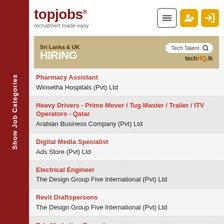topjobs® — recruitmert made easy
[Figure (infographic): Sri Lanka & UK HIRING Tech Talent — techHQ.lk advertisement banner]
Pharmacy Assistant — Winsetha Hospitals (Pvt) Ltd
Heavy Drivers - Prime Mover / Tug Master / Trailer / ITV Operators - Qatar — Arabian Business Company (Pvt) Ltd
Digital Media Specialist — Ads Store (Pvt) Ltd
Electrical Engineer — The Design Group Five International (Pvt) Ltd
Revit Draftspersons — The Design Group Five International (Pvt) Ltd
Tele Marketing Executives — Esafe Global (Pvt) Ltd